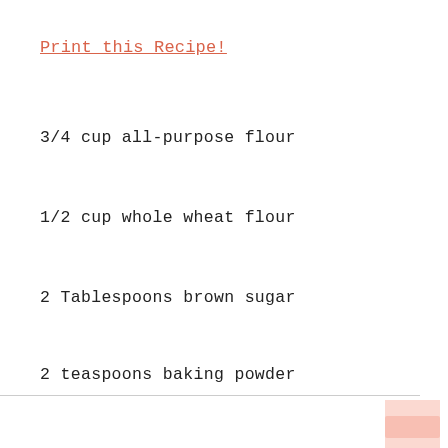Print this Recipe!
3/4 cup all-purpose flour
1/2 cup whole wheat flour
2 Tablespoons brown sugar
2 teaspoons baking powder